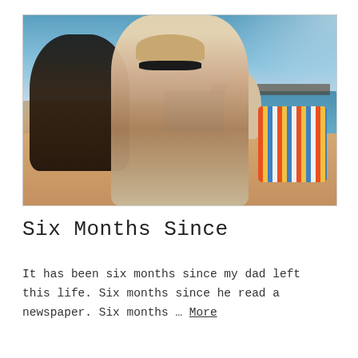[Figure (photo): Outdoor beach photo showing people at the beach. In the foreground a person in a hat and sunglasses takes a selfie-style photo. To the left is another person with sunglasses. In the background there is a pier, ocean waves, and a striped beach chair on the right. Bright sunny day with blue sky.]
Six Months Since
It has been six months since my dad left this life. Six months since he read a newspaper. Six months … More